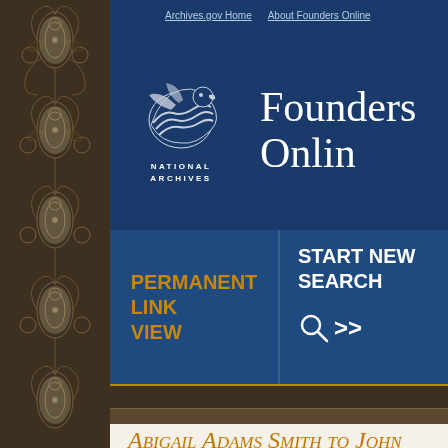[Figure (illustration): Dark brown floral/paisley decorative border panel on the left side of the page]
Archives.gov Home   About Founders Online
[Figure (logo): National Archives logo — stylized eagle/wave graphic above text NATIONAL ARCHIVES]
Founders Online
PERMANENT LINK VIEW
START NEW SEARCH
Abigail Adams Smith to John Adams, 27 July 1788
Abigail Adams Smith to John Adams